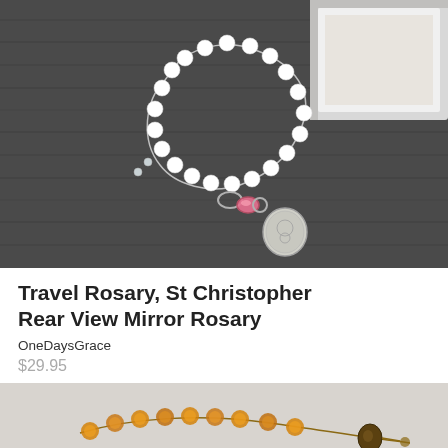[Figure (photo): A white bead rosary bracelet with silver chain, pink crystal accent, and a St. Christopher medal pendant, laid on a dark gray wooden surface beside a white picture frame.]
Travel Rosary, St Christopher Rear View Mirror Rosary
OneDaysGrace
$29.95
[Figure (photo): A rosary bracelet with amber/orange glass beads and bronze chain on a light gray surface, partially visible at bottom of page.]